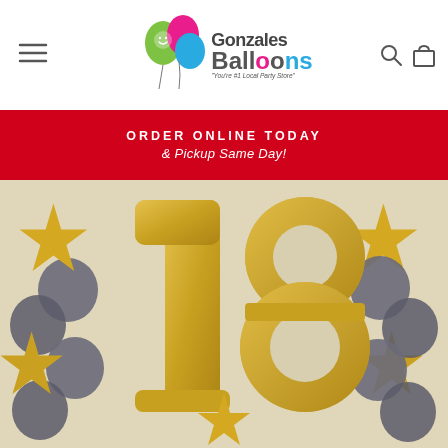[Figure (logo): Gonzales Balloons logo with colorful balloon graphics and tagline 'You're #1 Local Party Store']
[Figure (other): Navigation icons: hamburger menu on left, search and shopping bag icons on right]
ORDER ONLINE TODAY
& Pickup Same Day!
[Figure (photo): Photo of gold foil number 18 balloons surrounded by gold star-shaped balloons and gray/black round balloons]